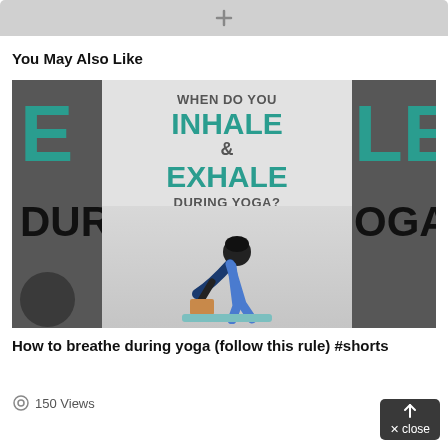[Figure (screenshot): Top gray bar with a plus icon, resembling a browser or app UI element]
You May Also Like
[Figure (photo): Video thumbnail showing yoga breathing content: 'WHEN DO YOU INHALE & EXHALE DURING YOGA?' with a person doing a yoga pose. Side panels show partial text 'EXHALE DURING YOGA?' repeated.]
How to breathe during yoga (follow this rule) #shorts
150 Views
close